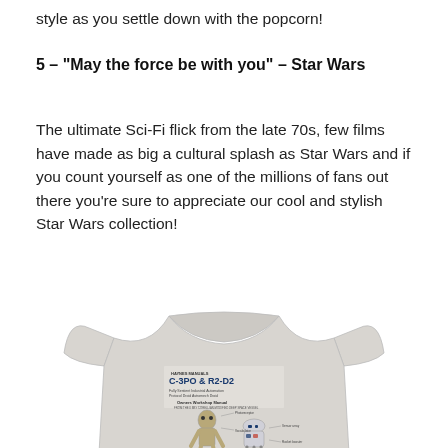style as you settle down with the popcorn!
5 – “May the force be with you” – Star Wars
The ultimate Sci-Fi flick from the late 70s, few films have made as big a cultural splash as Star Wars and if you count yourself as one of the millions of fans out there you’re sure to appreciate our cool and stylish Star Wars collection!
[Figure (photo): A grey/heather grey t-shirt featuring a Haynes Manuals style graphic of C-3PO and R2-D2 from Star Wars with technical diagram text.]